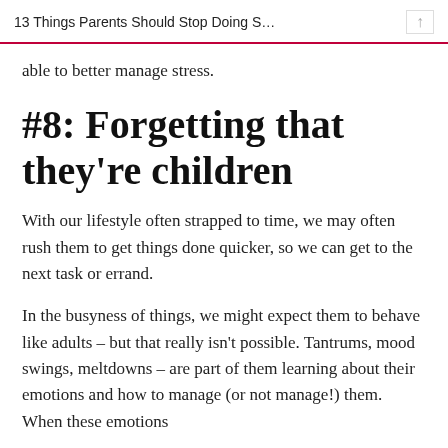13 Things Parents Should Stop Doing S…
able to better manage stress.
#8: Forgetting that they're children
With our lifestyle often strapped to time, we may often rush them to get things done quicker, so we can get to the next task or errand.
In the busyness of things, we might expect them to behave like adults – but that really isn't possible. Tantrums, mood swings, meltdowns – are part of them learning about their emotions and how to manage (or not manage!) them. When these emotions